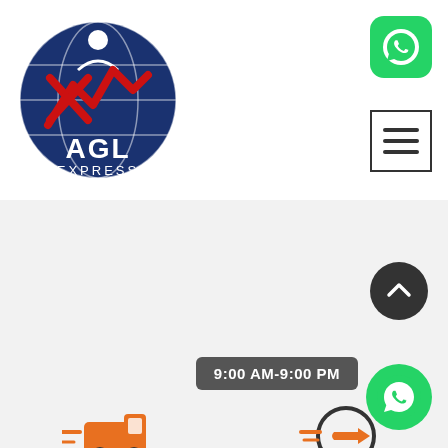[Figure (logo): AGL Express logo - circular navy blue badge with globe lines, red zigzag/lightning mark graphic, text AGL EXPRESS in white]
[Figure (logo): WhatsApp green rounded square icon with white phone handset]
[Figure (other): Hamburger menu button with three horizontal lines inside a square border]
[Figure (illustration): Fast Truck icon - orange speed truck with motion lines]
Fast Truck
[Figure (illustration): Quick Tk icon - orange circular speed symbol with motion lines]
Quick Tk
[Figure (other): Dark circular scroll-to-top button with white upward chevron]
9:00 AM-9:00 PM
[Figure (logo): WhatsApp green circle icon with white phone handset]